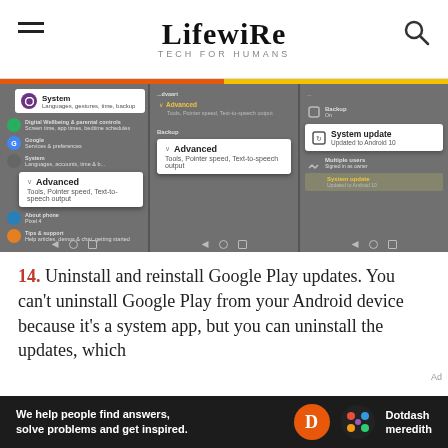Lifewire TECH FOR HUMANS
[Figure (screenshot): Three Android phone screenshots showing Settings menu with System, Advanced, and System update options highlighted]
14. Uninstall and reinstall Google Play updates. You can't uninstall Google Play from your Android device because it's a system app, but you can uninstall the updates, which
[Figure (logo): Dotdash Meredith ad banner: We help people find answers, solve problems and get inspired.]